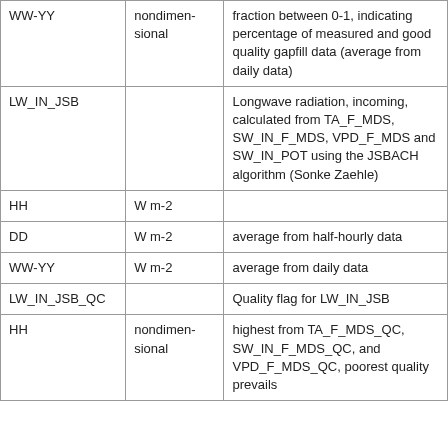| WW-YY | nondimensional | fraction between 0-1, indicating percentage of measured and good quality gapfill data (average from daily data) |
| LW_IN_JSB |  | Longwave radiation, incoming, calculated from TA_F_MDS, SW_IN_F_MDS, VPD_F_MDS and SW_IN_POT using the JSBACH algorithm (Sonke Zaehle) |
| HH | W m-2 |  |
| DD | W m-2 | average from half-hourly data |
| WW-YY | W m-2 | average from daily data |
| LW_IN_JSB_QC |  | Quality flag for LW_IN_JSB |
| HH | nondimensional | highest from TA_F_MDS_QC, SW_IN_F_MDS_QC, and VPD_F_MDS_QC, poorest quality prevails |